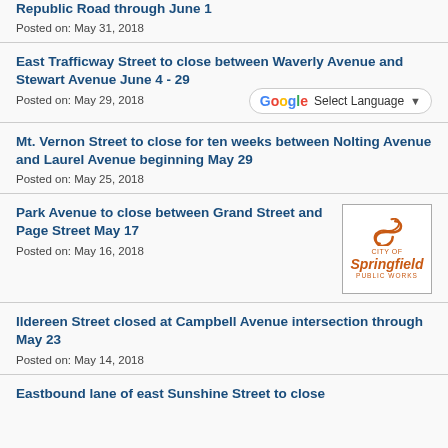Republic Road through June 1
Posted on: May 31, 2018
East Trafficway Street to close between Waverly Avenue and Stewart Avenue June 4 - 29
Posted on: May 29, 2018
Mt. Vernon Street to close for ten weeks between Nolting Avenue and Laurel Avenue beginning May 29
Posted on: May 25, 2018
Park Avenue to close between Grand Street and Page Street May 17
[Figure (logo): City of Springfield Public Works logo with orange stylized S swirl]
Posted on: May 16, 2018
Ildereen Street closed at Campbell Avenue intersection through May 23
Posted on: May 14, 2018
Eastbound lane of east Sunshine Street to close